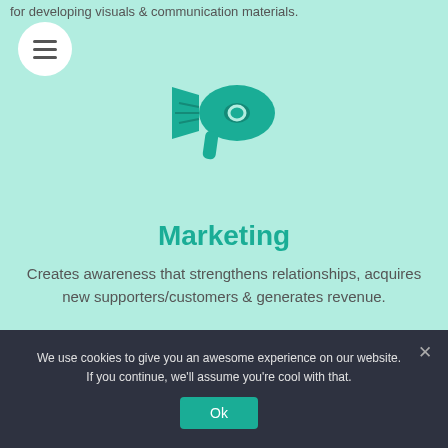for developing visuals & communication materials.
[Figure (illustration): Teal megaphone icon centered on mint green background]
Marketing
Creates awareness that strengthens relationships, acquires new supporters/customers & generates revenue.
We use cookies to give you an awesome experience on our website. If you continue, we'll assume you're cool with that.